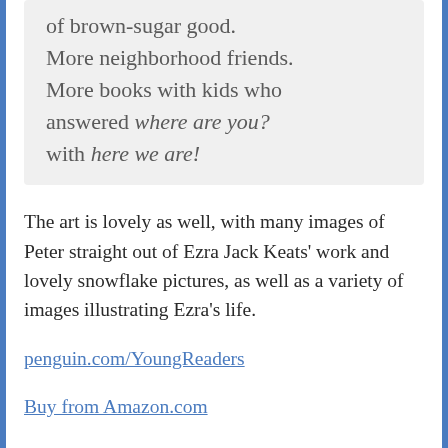of brown-sugar good. More neighborhood friends. More books with kids who answered where are you? with here we are!
The art is lovely as well, with many images of Peter straight out of Ezra Jack Keats' work and lovely snowflake pictures, as well as a variety of images illustrating Ezra's life.
penguin.com/YoungReaders
Buy from Amazon.com